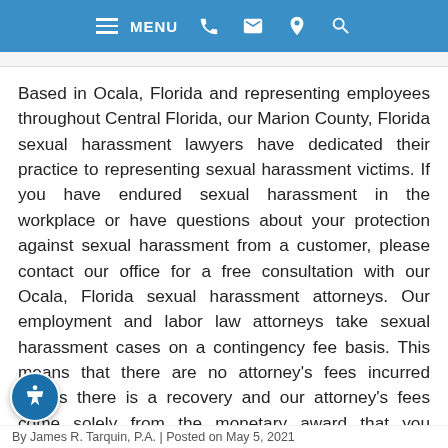MENU [navigation bar with phone, email, location, search icons]
Based in Ocala, Florida and representing employees throughout Central Florida, our Marion County, Florida sexual harassment lawyers have dedicated their practice to representing sexual harassment victims. If you have endured sexual harassment in the workplace or have questions about your protection against sexual harassment from a customer, please contact our office for a free consultation with our Ocala, Florida sexual harassment attorneys. Our employment and labor law attorneys take sexual harassment cases on a contingency fee basis. This means that there are no attorney's fees incurred unless there is a recovery and our attorney's fees come solely from the monetary award that you recover.
By James R. Tarquin, P.A. | Posted on May 5, 2021